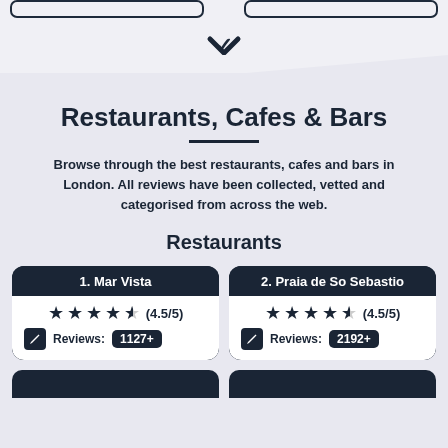[Figure (screenshot): Top navigation bar with two outlined buttons and a chevron/dropdown arrow below]
Restaurants, Cafes & Bars
Browse through the best restaurants, cafes and bars in London. All reviews have been collected, vetted and categorised from across the web.
Restaurants
1. Mar Vista — Rating: 4.5/5 — Reviews: 1127+
2. Praia de So Sebastio — Rating: 4.5/5 — Reviews: 2192+